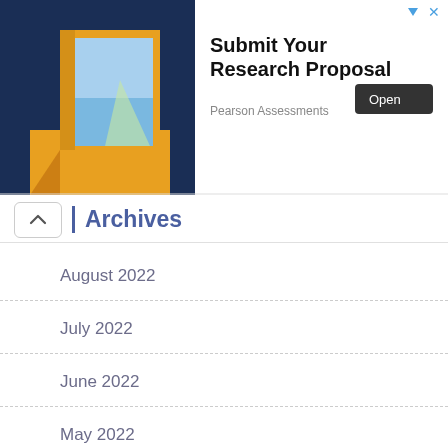[Figure (infographic): Advertisement banner with an illustration of an open door with golden light and a pathway, dark blue background. Text reads 'Submit Your Research Proposal' with an 'Open' button and 'Pearson Assessments' sponsor label.]
Archives
August 2022
July 2022
June 2022
May 2022
April 2022
March 2022